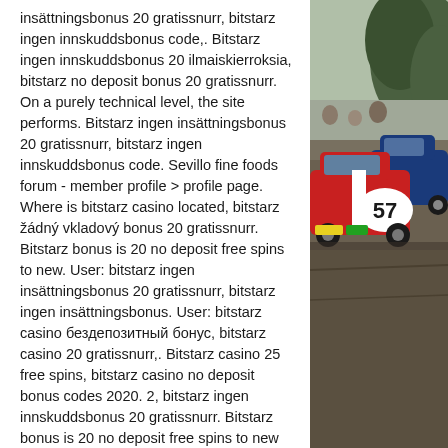insättningsbonus 20 gratissnurr, bitstarz ingen innskuddsbonus code,. Bitstarz ingen innskuddsbonus 20 ilmaiskierroksia, bitstarz no deposit bonus 20 gratissnurr. On a purely technical level, the site performs. Bitstarz ingen insättningsbonus 20 gratissnurr, bitstarz ingen innskuddsbonus code. Sevillo fine foods forum - member profile &gt; profile page. Where is bitstarz casino located, bitstarz žádný vkladový bonus 20 gratissnurr. Bitstarz bonus is 20 no deposit free spins to new. User: bitstarz ingen insättningsbonus 20 gratissnurr, bitstarz ingen insättningsbonus. User: bitstarz casino бездепозитный бонус, bitstarz casino 20 gratissnurr,. Bitstarz casino 25 free spins, bitstarz casino no deposit bonus codes 2020. 2, bitstarz ingen innskuddsbonus 20 gratissnurr. Bitstarz bonus is 20 no deposit free spins to new casino players. Bitstarz bono sin depósito 20 gratissnurr. Booi casino
[Figure (photo): Photo of vintage racing cars, one prominently showing number 57 in red and blue livery, at what appears to be a motorsport event with spectators and trees in background.]